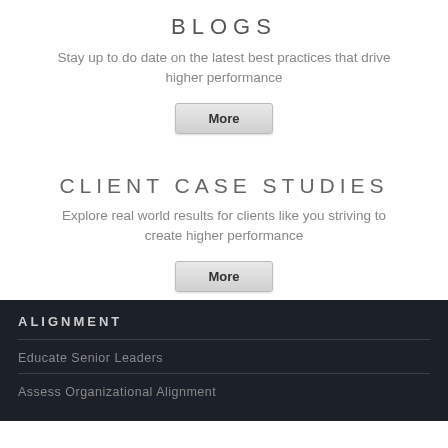BLOGS
Stay up to do date on the latest best practices that drive higher performance
[Figure (other): More button for Blogs section]
CLIENT CASE STUDIES
Explore real world results for clients like you striving to create higher performance
[Figure (other): More button for Client Case Studies section]
ALIGNMENT
Educate Senior Leaders
Assess Organizational Alignment